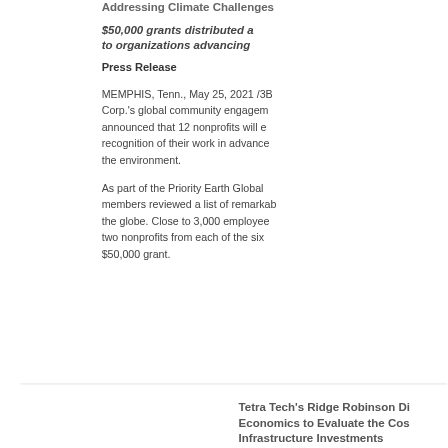Addressing Climate Challenges
$50,000 grants distributed a to organizations advancing
Press Release
MEMPHIS, Tenn., May 25, 2021 /3B Corp.'s global community engager announced that 12 nonprofits will e recognition of their work in advanc the environment.
As part of the Priority Earth Global members reviewed a list of remark the globe. Close to 3,000 employe two nonprofits from each of the six $50,000 grant.
Tetra Tech's Ridge Robinson Di Economics to Evaluate the Cos Infrastructure Investments